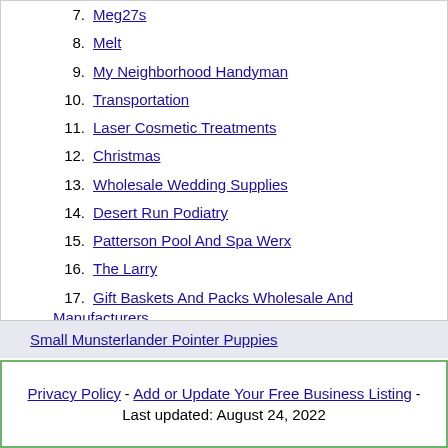7. Meg27s
8. Melt
9. My Neighborhood Handyman
10. Transportation
11. Laser Cosmetic Treatments
12. Christmas
13. Wholesale Wedding Supplies
14. Desert Run Podiatry
15. Patterson Pool And Spa Werx
16. The Larry
17. Gift Baskets And Packs Wholesale And Manufacturers
18. Eaglewings Iron Craft
19. Advertising Solutions
20. Small Munsterlander Pointer Puppies
Small Munsterlander Pointer Puppies
Privacy Policy - Add or Update Your Free Business Listing - Last updated: August 24, 2022